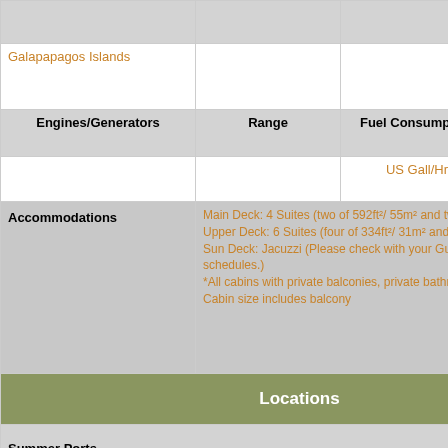|  |  |  | Permit | Not |
| --- | --- | --- | --- | --- |
| Galapapagos Islands |  |  | Not Included | Not |
| Engines/Generators | Range | Fuel Consumption | Cruis |
|  |  | US Gall/Hr |  |
| Accommodations | Main Deck: 4 Suites (two of 592ft²/ 55m² and two of 560f Upper Deck: 6 Suites (four of 334ft²/ 31m² and two of 37 Sun Deck: Jacuzzi (Please check with your Guide and C schedules.) *All cabins with private balconies, private bathrooms, hot Cabin size includes balcony |  |  |
| Locations |
| --- |
| Summer Ports |  | Winter Ports |
|  |  |  |
| Summer Operations |  | Winter Operatio |
| Galapagos |  | Galapagos |
| Location Details |  | MCA Complianc |
| When is the best time to visit Galapagos? Galapagos is a place that can be visited at any time. There are two season, |  | N/A |